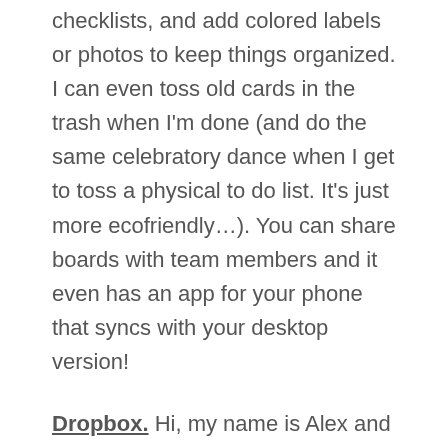checklists, and add colored labels or photos to keep things organized. I can even toss old cards in the trash when I'm done (and do the same celebratory dance when I get to toss a physical to do list. It's just more ecofriendly…). You can share boards with team members and it even has an app for your phone that syncs with your desktop version!
Dropbox. Hi, my name is Alex and I'm a Dropbox addict. It started off innocently enough. I'd upload files as necessary and then delete them when I reached the capacity of free storage. I ultimately upgraded my account to the Dropbox Pro and it's arguably some of the best money I've spent in my adult life. Being away